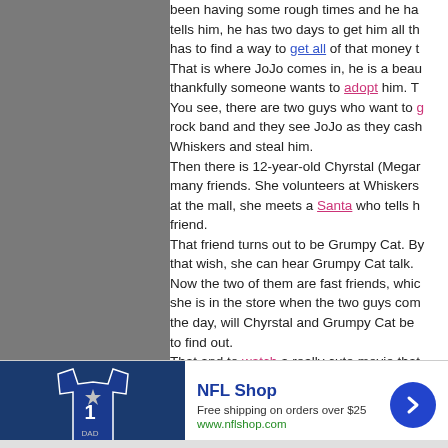been having some rough times and he has tells him, he has two days to get him all the has to find a way to get all of that money t That is where JoJo comes in, he is a beau thankfully someone wants to adopt him. T You see, there are two guys who want to g rock band and they see JoJo as they cash Whiskers and steal him. Then there is 12-year-old Chyrstal (Megan many friends. She volunteers at Whiskers at the mall, she meets a Santa who tells h friend. That friend turns out to be Grumpy Cat. By that wish, she can hear Grumpy Cat talk. Now the two of them are fast friends, whic she is in the store when the two guys com the day, will Chyrstal and Grumpy Cat be to find out. That and to watch a really cute movie that
[Figure (infographic): NFL Shop advertisement banner. Shows a Dallas Cowboys jersey (#1, DAD) on dark navy background on the left. Text reads 'NFL Shop', 'Free shipping on orders over $25', 'www.nflshop.com'. A blue circular arrow button on the right. A close (X) button at top right corner.]